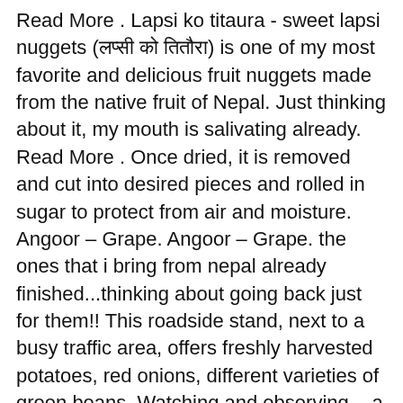Read More . Lapsi ko titaura - sweet lapsi nuggets (लप्सी को तितौरा) is one of my most favorite and delicious fruit nuggets made from the native fruit of Nepal. Just thinking about it, my mouth is salivating already. Read More . Once dried, it is removed and cut into desired pieces and rolled in sugar to protect from air and moisture. Angoor – Grape. Angoor – Grape. the ones that i bring from nepal already finished...thinking about going back just for them!! This roadside stand, next to a busy traffic area, offers freshly harvested potatoes, red onions, different varieties of green beans, Watching and observing -  a century-old way of life at the local Asan Tole market, which offers fresh and naturally ripe fruits, vegetables, and other seasonally grown local produce, and some seedlings - vendors are taking pride in selling their naturally grown produce. This roadside stand, next to a busy traffic area, offers freshly harvested potatoes, red onions, different varieties of green beans, Watching and observing -  a century-old way of life at the local Asan Tole market, which offers fresh and naturally ripe fruits, vegetables, and other seasonally grown local produce, and some